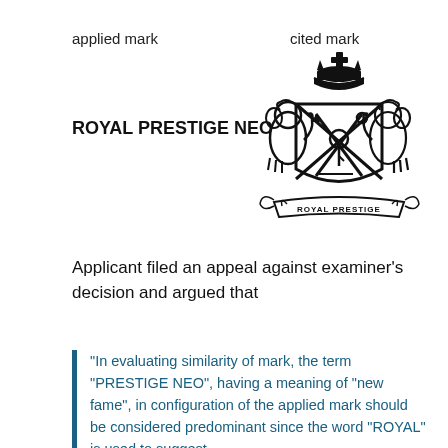applied mark
cited mark
ROYAL PRESTIGE NEO
[Figure (illustration): Heraldic coat of arms with two lions holding a crowned shield with crossed sword and anchor, banner reading ROYAL PRESTIGE below]
Applicant filed an appeal against examiner’s decision and argued that
“In evaluating similarity of mark, the term “PRESTIGE NEO”, having a meaning of “new fame”, in configuration of the applied mark should be considered predominant since the word “ROYAL” is used to suggest